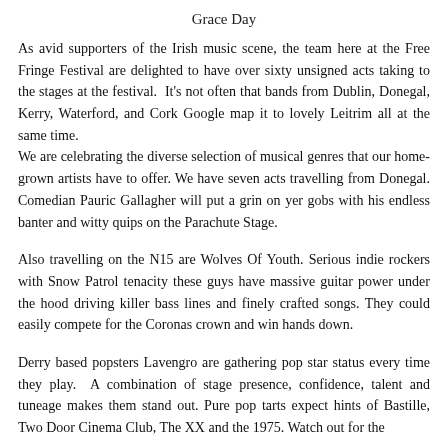Grace Day
As avid supporters of the Irish music scene, the team here at the Free Fringe Festival are delighted to have over sixty unsigned acts taking to the stages at the festival.  It's not often that bands from Dublin, Donegal, Kerry, Waterford, and Cork Google map it to lovely Leitrim all at the same time.
We are celebrating the diverse selection of musical genres that our home-grown artists have to offer. We have seven acts travelling from Donegal. Comedian Pauric Gallagher will put a grin on yer gobs with his endless banter and witty quips on the Parachute Stage.
Also travelling on the N15 are Wolves Of Youth. Serious indie rockers with Snow Patrol tenacity these guys have massive guitar power under the hood driving killer bass lines and finely crafted songs. They could easily compete for the Coronas crown and win hands down.
Derry based popsters Lavengro are gathering pop star status every time they play.  A combination of stage presence, confidence, talent and tuneage makes them stand out. Pure pop tarts expect hints of Bastille, Two Door Cinema Club, The XX and the 1975. Watch out for the